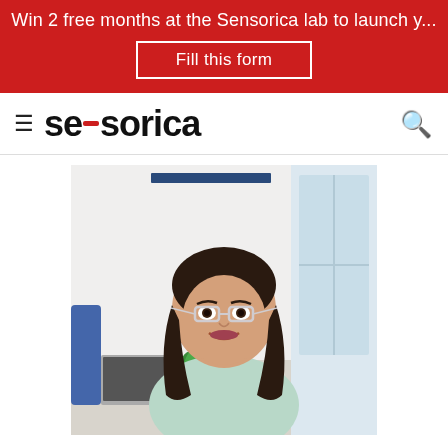Win 2 free months at the Sensorica lab to launch y...
Fill this form
Sensorica
[Figure (photo): A woman with dark shoulder-length hair and clear-framed glasses, wearing a light mint green sleeveless top, sitting in a bright office environment with a small plant and a window visible in the background.]